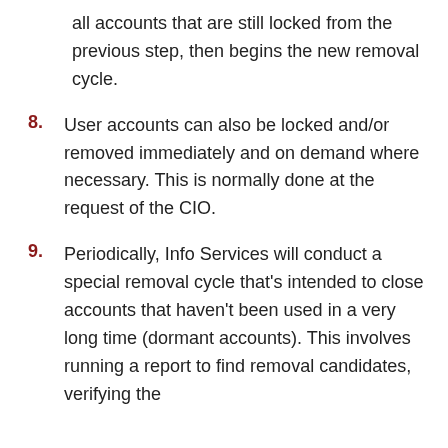all accounts that are still locked from the previous step, then begins the new removal cycle.
8. User accounts can also be locked and/or removed immediately and on demand where necessary. This is normally done at the request of the CIO.
9. Periodically, Info Services will conduct a special removal cycle that's intended to close accounts that haven't been used in a very long time (dormant accounts). This involves running a report to find removal candidates, verifying the